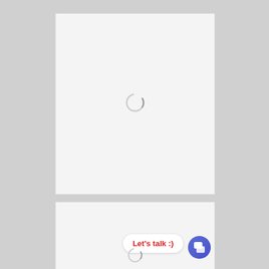[Figure (screenshot): Top white panel with a loading spinner circle in the center]
[Figure (screenshot): Bottom white panel showing a 'Let's talk :)' chat bubble in red text with a blue circular chat icon button on the right]